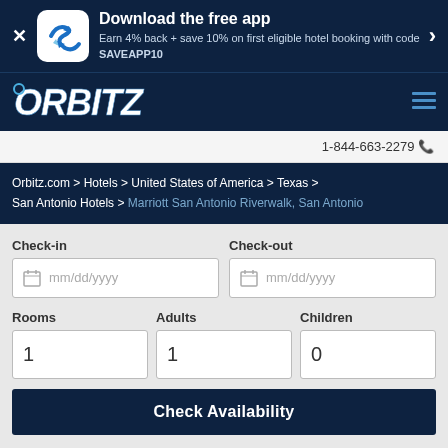[Figure (screenshot): Orbitz app download banner with logo icon, close button, arrow button, and promotional text]
Download the free app
Earn 4% back + save 10% on first eligible hotel booking with code SAVEAPP10
[Figure (logo): Orbitz logo in white italic text on dark blue background]
1-844-663-2279
Orbitz.com > Hotels > United States of America > Texas > San Antonio Hotels > Marriott San Antonio Riverwalk, San Antonio
Check-in
mm/dd/yyyy
Check-out
mm/dd/yyyy
Rooms
1
Adults
1
Children
0
Check Availability